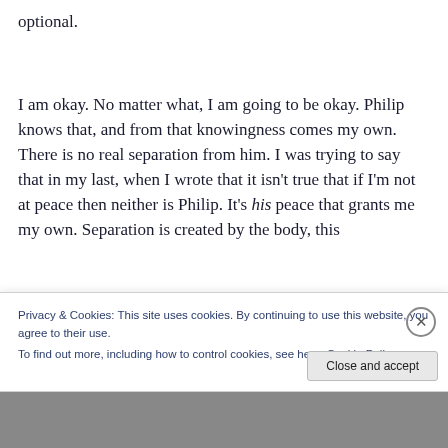optional.
I am okay. No matter what, I am going to be okay. Philip knows that, and from that knowingness comes my own. There is no real separation from him. I was trying to say that in my last, when I wrote that it isn't true that if I'm not at peace then neither is Philip. It's his peace that grants me my own. Separation is created by the body, this
Privacy & Cookies: This site uses cookies. By continuing to use this website, you agree to their use.
To find out more, including how to control cookies, see here: Cookie Policy